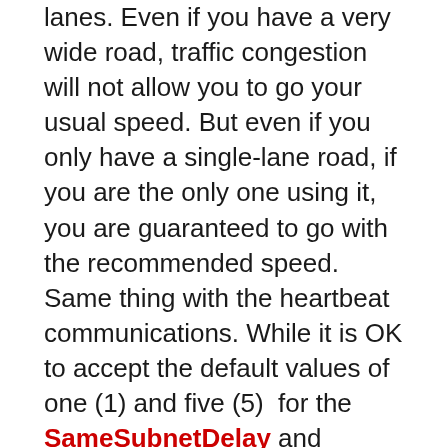lanes. Even if you have a very wide road, traffic congestion will not allow you to go your usual speed. But even if you only have a single-lane road, if you are the only one using it, you are guaranteed to go with the recommended speed. Same thing with the heartbeat communications. While it is OK to accept the default values of one (1) and five (5)  for the SameSubnetDelay and SameSubnetThreshold properties, respectively, you need to modify appropriately. Talk to your network engineers about the current traffic that goes thru your network. They will have a profile of the network traffic – what time of the day is the network busy, what application is consuming most of the network traffic, etc. Measure the network latency between nodes in your WSFC. If you currently only have two nodes in your WSFC, a cross-over cable can still be used for dedicated cluster heartbeat communications. You just need to document everything in case you decide to add nodes in your WSFC. Of course, in the modern data center